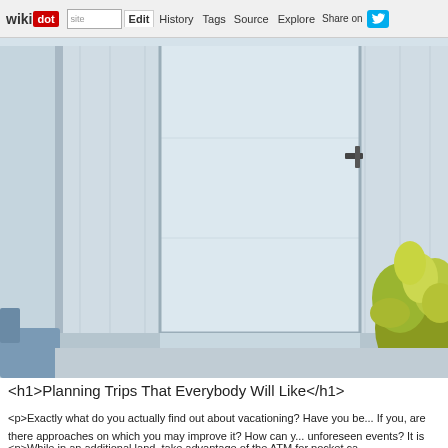wikidot | site | Edit | History | Tags | Source | Explore | Share on
[Figure (photo): Interior room photo showing a white/grey paneled wall with a window or door frame, a small blue chair or couch on the left, and a green leafy plant on the right side.]
<h1>Planning Trips That Everybody Will Like</h1>
<p>Exactly what do you actually find out about vacationing? Have you be... If you, are there approaches on which you may improve it? How can y... unforeseen events? It is essential to check this out report should you not... questions.</p>
<p>While in an additional land, take advantage of the ATM for pocket ca...